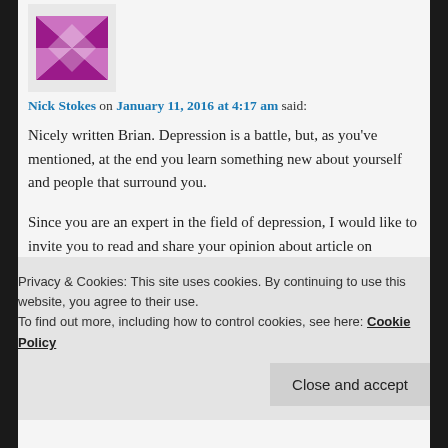[Figure (logo): Purple and white geometric/star logo avatar for Nick Stokes]
Nick Stokes on January 11, 2016 at 4:17 am said:
Nicely written Brian. Depression is a battle, but, as you've mentioned, at the end you learn something new about yourself and people that surround you.

Since you are an expert in the field of depression, I would like to invite you to read and share your opinion about article on depression that was recently written by my company. Do you mind to email you the link?
Privacy & Cookies: This site uses cookies. By continuing to use this website, you agree to their use.
To find out more, including how to control cookies, see here: Cookie Policy
Close and accept